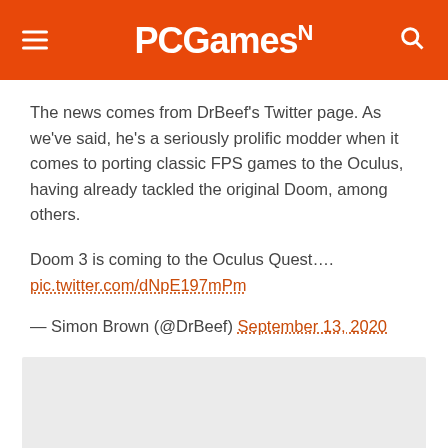PCGamesN
The news comes from DrBeef’s Twitter page. As we’ve said, he’s a seriously prolific modder when it comes to porting classic FPS games to the Oculus, having already tackled the original Doom, among others.
Doom 3 is coming to the Oculus Quest…. pic.twitter.com/dNpE197mPm
— Simon Brown (@DrBeef) September 13, 2020
[Figure (other): Gray advertisement placeholder block]